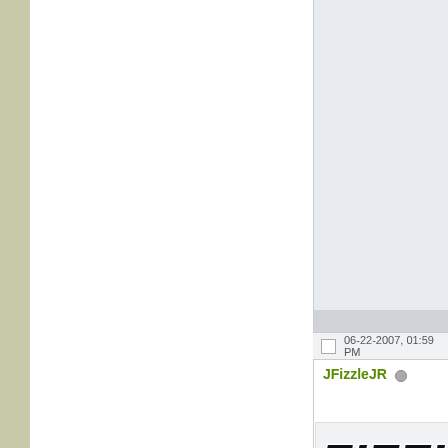06-22-2007, 01:59 PM
JFizzleJR
[Figure (logo): Fizzle Intercooler logo - bold italic black text 'FIZZL' with red italic text 'INTERCOOLER' below]
| Join Date: | Aug 2005 |
| Location: | FL |
| Posts: | 8,830 |
| +1: | 965 |